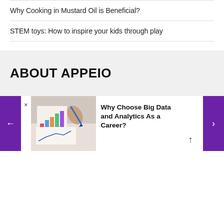Why Cooking in Mustard Oil is Beneficial?
STEM toys: How to inspire your kids through play
ABOUT APPEIO
[Figure (photo): Person pointing at a bar chart / analytics graph with a pen]
Why Choose Big Data and Analytics As a Career?